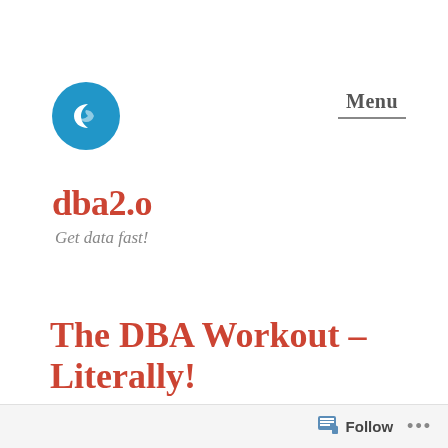[Figure (logo): Blue circle with white crescent/wave icon — site logo for dba2.o]
Menu
dba2.o
Get data fast!
The DBA Workout – Literally!
Follow ...